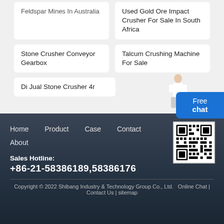Feldspar Mines In Australia
Used Gold Ore Impact Crusher For Sale In South Africa
Stone Crusher Conveyor Gearbox
Talcum Crushing Machine For Sale
Di Jual Stone Crusher 4r
Home   Product   Case   Contact   About
Sales Hotline:
+86-21-58386189,58386176
[Figure (other): QR code for website]
Copyright © 2022 Shibang Industry & Technology Group Co., Ltd.   Online Chat | Contact Us | sitemap